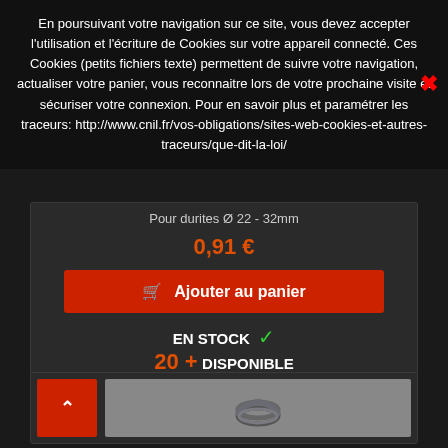En poursuivant votre navigation sur ce site, vous devez accepter l'utilisation et l'écriture de Cookies sur votre appareil connecté. Ces Cookies (petits fichiers texte) permettent de suivre votre navigation, actualiser votre panier, vous reconnaitre lors de votre prochaine visite et sécuriser votre connexion. Pour en savoir plus et paramétrer les traceurs: http://www.cnil.fr/vos-obligations/sites-web-cookies-et-autres-traceurs/que-dit-la-loi/
Pour durites Ø 22 - 32mm
0,91 €
Ajouter au panier
EN STOCK ✓ 20 + DISPONIBLE
[Figure (photo): Product image showing a metal hose clamp ring on a grey background]